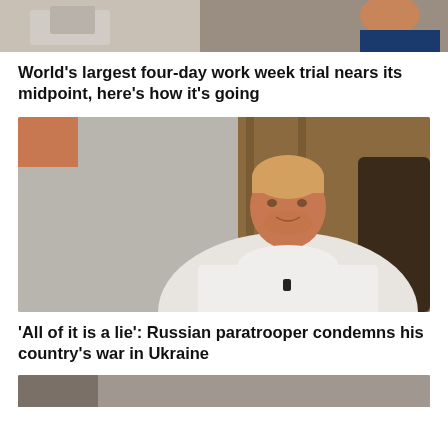[Figure (photo): Cropped top of a photo showing a person working at a desk with a computer, partial view of hands and red hair]
World's largest four-day work week trial nears its midpoint, here's how it's going
[Figure (photo): A muscular man with short blonde hair wearing a white button-up shirt, sitting and speaking, appearing to be in an interview setting with a wooden background and microphone clipped to his shirt]
'All of it is a lie': Russian paratrooper condemns his country's war in Ukraine
[Figure (photo): Partial view of a third article image at the bottom of the page, cropped]